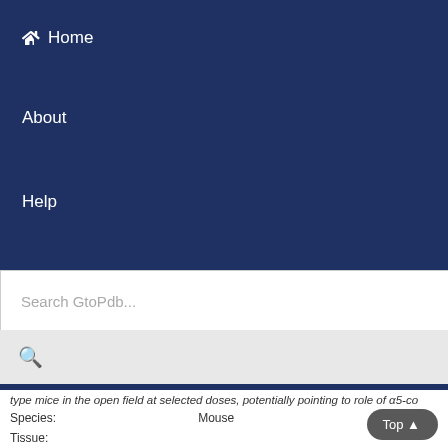Home
About
Help
type mice in the open field at selected doses, potentially pointing to role of α5-co...
| Species: | Mouse |
| Tissue: |  |
| Technique: | Global knockout of the Gabra5 gene |
| References: | 6,8,30 |
Electrophysiological phenotypes
In the CA1 region of the hippcocampus the IPSCs were decreased, and paired-p... receptors play an important role in cognitive processes by controlling a compone... These mice also revealed that α5-containing GABA(A) receptors predominatly m...